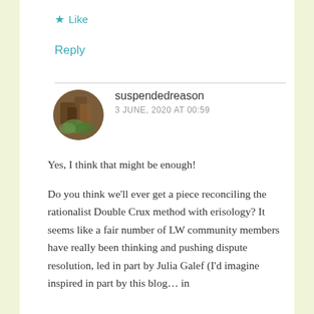★ Like
Reply
suspendedreason
3 JUNE, 2020 AT 00:59
Yes, I think that might be enough!
Do you think we'll ever get a piece reconciling the rationalist Double Crux method with erisology? It seems like a fair number of LW community members have really been thinking and pushing dispute resolution, led in part by Julia Galef (I'd imagine inspired in part by this blog… in